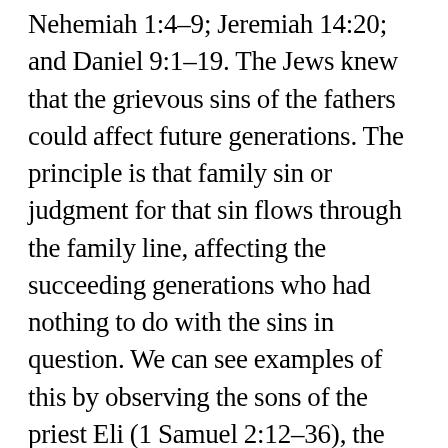Nehemiah 1:4–9; Jeremiah 14:20; and Daniel 9:1–19. The Jews knew that the grievous sins of the fathers could affect future generations. The principle is that family sin or judgment for that sin flows through the family line, affecting the succeeding generations who had nothing to do with the sins in question. We can see examples of this by observing the sons of the priest Eli (1 Samuel 2:12–36), the consequence of Ahab's sins passed on to his son's house (1 Kings 21:29), the descendants of Shemaiah punished because their father taught rebellion against the Lord (Jeremiah 29:32), and the trouble David had with his sons (part of the punishment from God for David's